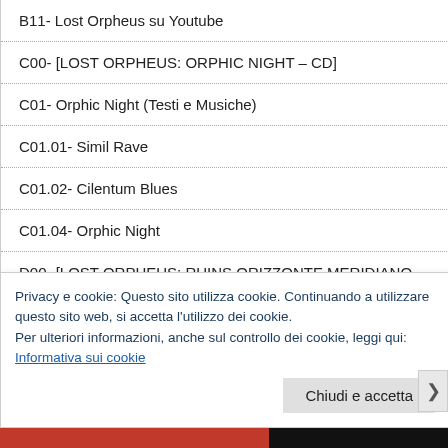B11- Lost Orpheus su Youtube
C00- [LOST ORPHEUS: ORPHIC NIGHT – CD]
C01- Orphic Night (Testi e Musiche)
C01.01- Simil Rave
C01.02- Cilentum Blues
C01.04- Orphic Night
D00- [LOST ORPHEUS: RUINS ORIZZONTE MERIDIANO – CD]
D01- Ruins – Orizzonte meridiano (Testi e musiche)
Privacy e cookie: Questo sito utilizza cookie. Continuando a utilizzare questo sito web, si accetta l'utilizzo dei cookie.
Per ulteriori informazioni, anche sul controllo dei cookie, leggi qui:
Informativa sui cookie
Chiudi e accetta